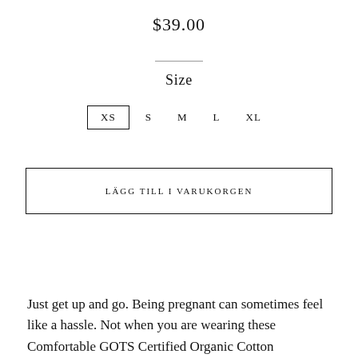$39.00
Size
XS  S  M  L  XL
LÄGG TILL I VARUKORGEN
Just get up and go. Being pregnant can sometimes feel like a hassle. Not when you are wearing these Comfortable GOTS Certified Organic Cotton